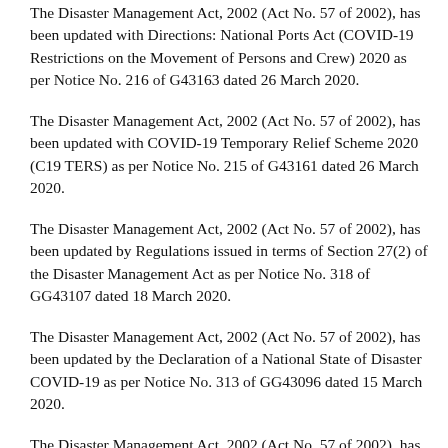The Disaster Management Act, 2002 (Act No. 57 of 2002), has been updated with Directions: National Ports Act (COVID-19 Restrictions on the Movement of Persons and Crew) 2020 as per Notice No. 216 of G43163 dated 26 March 2020.
The Disaster Management Act, 2002 (Act No. 57 of 2002), has been updated with COVID-19 Temporary Relief Scheme 2020 (C19 TERS) as per Notice No. 215 of G43161 dated 26 March 2020.
The Disaster Management Act, 2002 (Act No. 57 of 2002), has been updated by Regulations issued in terms of Section 27(2) of the Disaster Management Act as per Notice No. 318 of GG43107 dated 18 March 2020.
The Disaster Management Act, 2002 (Act No. 57 of 2002), has been updated by the Declaration of a National State of Disaster COVID-19 as per Notice No. 313 of GG43096 dated 15 March 2020.
The Disaster Management Act, 2002 (Act No. 57 of 2002), has been updated by the Classification of a National Disaster COVID-